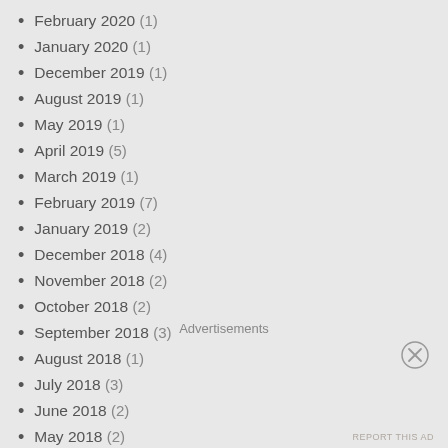February 2020 (1)
January 2020 (1)
December 2019 (1)
August 2019 (1)
May 2019 (1)
April 2019 (5)
March 2019 (1)
February 2019 (7)
January 2019 (2)
December 2018 (4)
November 2018 (2)
October 2018 (2)
September 2018 (3)
August 2018 (1)
July 2018 (3)
June 2018 (2)
May 2018 (2)
April 2018 (7) [partially visible]
Advertisements
REPORT THIS AD